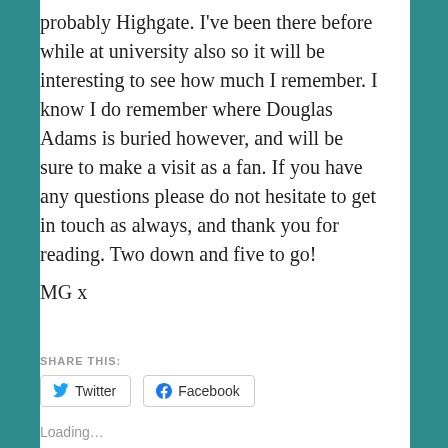probably Highgate. I've been there before while at university also so it will be interesting to see how much I remember. I know I do remember where Douglas Adams is buried however, and will be sure to make a visit as a fan. If you have any questions please do not hesitate to get in touch as always, and thank you for reading. Two down and five to go!
MG x
SHARE THIS:
Twitter
Facebook
Loading...
The Magnificent Seven
Tower Hamlets Cemetery